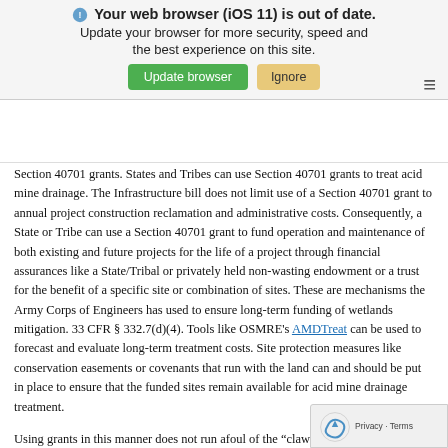Your web browser (iOS 11) is out of date. Update your browser for more security, speed and the best experience on this site. [Update browser] [Ignore]
Section 40701 grants. States and Tribes can use Section 40701 grants to treat acid mine drainage. The Infrastructure bill does not limit use of a Section 40701 grant to annual project construction reclamation and administrative costs. Consequently, a State or Tribe can use a Section 40701 grant to fund operation and maintenance of both existing and future projects for the life of a project through financial assurances like a State/Tribal or privately held non-wasting endowment or a trust for the benefit of a specific site or combination of sites. These are mechanisms the Army Corps of Engineers has used to ensure long-term funding of wetlands mitigation. 33 CFR § 332.7(d)(4). Tools like OSMRE's AMDTreat can be used to forecast and evaluate long-term treatment costs. Site protection measures like conservation easements or covenants that run with the land can and should be put in place to ensure that the funded sites remain available for acid mine drainage treatment.
Using grants in this manner does not run afoul of the "claw back" provision in Section 40701(d)(4)(B), which requires States and Tribe to "return unused" funds to the Abandoned Mine Land Reclamation Fund after a specified passage of time. The common meaning of "use" is: "employed in accomplishing something." Funds allocated for operations and maintenance of a specified acid